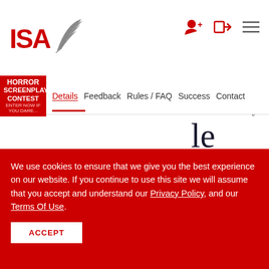[Figure (logo): ISA logo with red text 'ISA' and a grey quill/feather icon to the right]
[Figure (infographic): Header icons: person-add icon, login arrow icon, hamburger menu icon in dark red/grey]
Horror Screenplay Contest - Enter Now If You Dare...
Details Feedback Rules / FAQ Success Contact
le submissions are accepted but each submis
We use cookies to ensure that we give you the best experience on our website. If you continue to use this site we will assume that you accept and understand our Privacy Policy, and our Terms Of Use.
ACCEPT